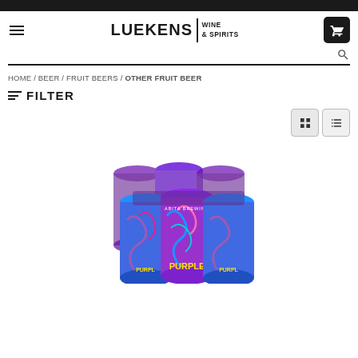[Figure (logo): Luekens Wine & Spirits logo with hamburger menu and cart button]
HOME / BEER / FRUIT BEERS / OTHER FRUIT BEER
≡ FILTER
[Figure (photo): Abita Brewing Purple Haze beer cans six-pack, colorful purple and blue psychedelic can design]